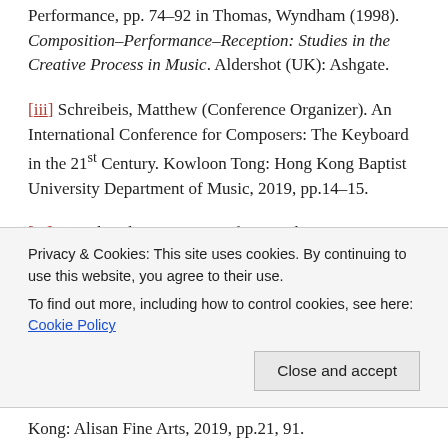Performance, pp. 74–92 in Thomas, Wyndham (1998). Composition–Performance–Reception: Studies in the Creative Process in Music. Aldershot (UK): Ashgate.
[iii] Schreibeis, Matthew (Conference Organizer). An International Conference for Composers: The Keyboard in the 21st Century. Kowloon Tong: Hong Kong Baptist University Department of Music, 2019, pp.14–15.
[iv] 'Lui Shou-kwan Pioneer of New Ink: A Centenary Celebration' 25 March to 16 May 2019
Privacy & Cookies: This site uses cookies. By continuing to use this website, you agree to their use. To find out more, including how to control cookies, see here: Cookie Policy
Kong: Alisan Fine Arts, 2019, pp.21, 91.